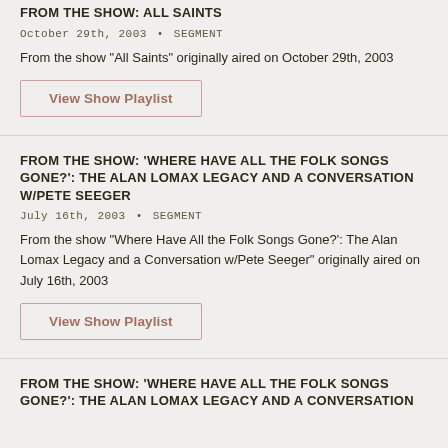FROM THE SHOW: ALL SAINTS
October 29th, 2003 • SEGMENT
From the show "All Saints" originally aired on October 29th, 2003
View Show Playlist
FROM THE SHOW: 'WHERE HAVE ALL THE FOLK SONGS GONE?': THE ALAN LOMAX LEGACY AND A CONVERSATION W/PETE SEEGER
July 16th, 2003 • SEGMENT
From the show "Where Have All the Folk Songs Gone?": The Alan Lomax Legacy and a Conversation w/Pete Seeger" originally aired on July 16th, 2003
View Show Playlist
FROM THE SHOW: 'WHERE HAVE ALL THE FOLK SONGS GONE?': THE ALAN LOMAX LEGACY AND A CONVERSATION